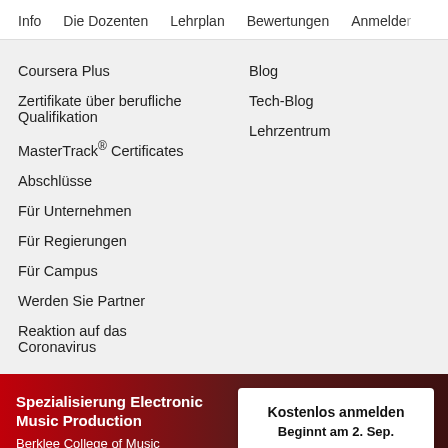Info   Die Dozenten   Lehrplan   Bewertungen   Anmelden
Coursera Plus
Zertifikate über berufliche Qualifikation
MasterTrack® Certificates
Abschlüsse
Für Unternehmen
Für Regierungen
Für Campus
Werden Sie Partner
Reaktion auf das Coronavirus
Blog
Tech-Blog
Lehrzentrum
Spezialisierung Electronic Music Production
Berklee College of Music
Kostenlos anmelden
Beginnt am 2. Sep.